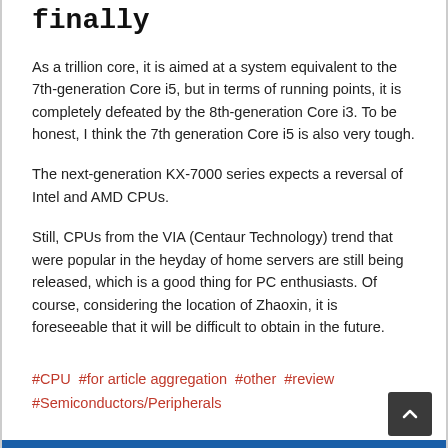finally
As a trillion core, it is aimed at a system equivalent to the 7th-generation Core i5, but in terms of running points, it is completely defeated by the 8th-generation Core i3. To be honest, I think the 7th generation Core i5 is also very tough.
The next-generation KX-7000 series expects a reversal of Intel and AMD CPUs.
Still, CPUs from the VIA (Centaur Technology) trend that were popular in the heyday of home servers are still being released, which is a good thing for PC enthusiasts. Of course, considering the location of Zhaoxin, it is foreseeable that it will be difficult to obtain in the future.
#CPU  #for article aggregation  #other  #review  #Semiconductors/Peripherals